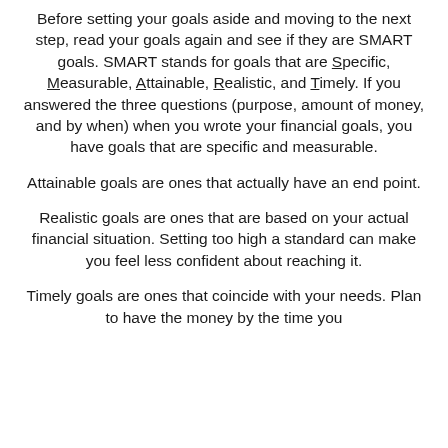Before setting your goals aside and moving to the next step, read your goals again and see if they are SMART goals. SMART stands for goals that are Specific, Measurable, Attainable, Realistic, and Timely. If you answered the three questions (purpose, amount of money, and by when) when you wrote your financial goals, you have goals that are specific and measurable.
Attainable goals are ones that actually have an end point.
Realistic goals are ones that are based on your actual financial situation. Setting too high a standard can make you feel less confident about reaching it.
Timely goals are ones that coincide with your needs. Plan to have the money by the time you